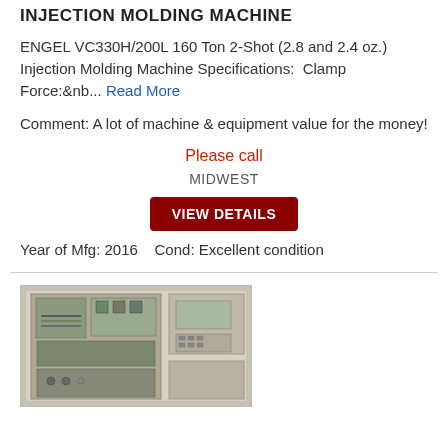INJECTION MOLDING MACHINE
ENGEL VC330H/200L 160 Ton 2-Shot (2.8 and 2.4 oz.) Injection Molding Machine Specifications:  Clamp Force:&nb... Read More
Comment: A lot of machine & equipment value for the money!
Please call
MIDWEST
VIEW DETAILS
Year of Mfg: 2016    Cond: Excellent condition
[Figure (photo): Photo of an injection molding machine control panel with electrical components visible]